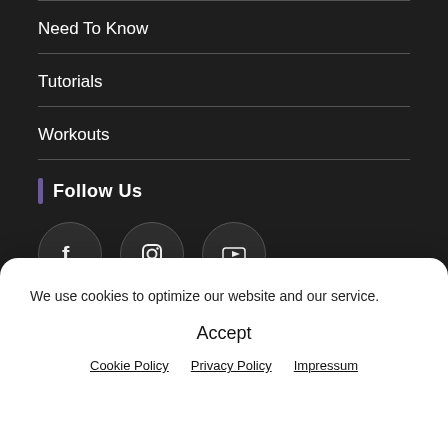Need To Know
Tutorials
Workouts
Follow Us
[Figure (illustration): Three social media icons: Facebook, Instagram, YouTube in dark circles with borders]
Links
We use cookies to optimize our website and our service.
Accept
Cookie Policy   Privacy Policy   Impressum